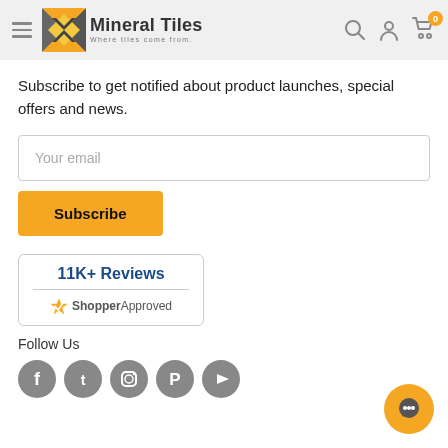Mineral Tiles - Where tiles come from.
Subscribe to get notified about product launches, special offers and news.
Your email
Subscribe
[Figure (logo): ShopperApproved badge showing 11K+ Reviews]
Follow Us